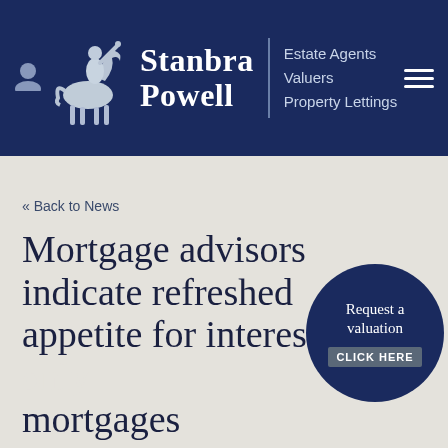[Figure (logo): Stanbra Powell estate agents logo: knight on horseback with company name and taglines on dark navy background]
« Back to News
Mortgage advisors indicate refreshed appetite for interest only mortgages
Request a valuation CLICK HERE